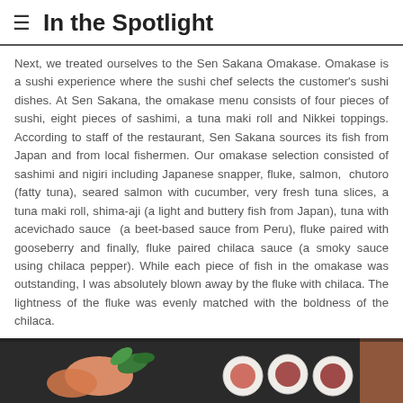In the Spotlight
Next, we treated ourselves to the Sen Sakana Omakase. Omakase is a sushi experience where the sushi chef selects the customer's sushi dishes. At Sen Sakana, the omakase menu consists of four pieces of sushi, eight pieces of sashimi, a tuna maki roll and Nikkei toppings. According to staff of the restaurant, Sen Sakana sources its fish from Japan and from local fishermen. Our omakase selection consisted of sashimi and nigiri including Japanese snapper, fluke, salmon, chutoro (fatty tuna), seared salmon with cucumber, very fresh tuna slices, a tuna maki roll, shima-aji (a light and buttery fish from Japan), tuna with acevichado sauce (a beet-based sauce from Peru), fluke paired with gooseberry and finally, fluke paired chilaca sauce (a smoky sauce using chilaca pepper). While each piece of fish in the omakase was outstanding, I was absolutely blown away by the fluke with chilaca. The lightness of the fluke was evenly matched with the boldness of the chilaca.
[Figure (photo): A dark slate platter with sashimi and nigiri pieces including salmon, tuna, and garnish with green leaves, photographed from above.]